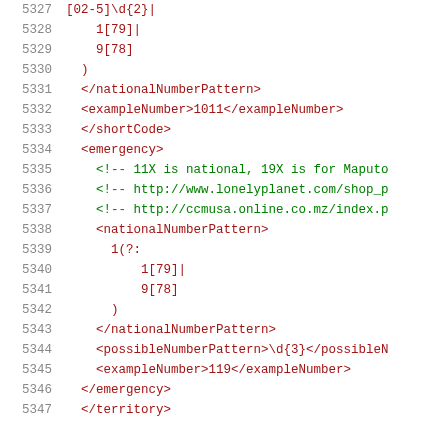5327  [02-5]\d{2}|
5328  1[79]|
5329  9[78]
5330  )
5331  </nationalNumberPattern>
5332  <exampleNumber>1011</exampleNumber>
5333  </shortCode>
5334  <emergency>
5335  <!-- 11X is national, 19X is for Maputo
5336  <!-- http://www.lonelyplanet.com/shop_p
5337  <!-- http://ccmusa.online.co.mz/index.p
5338  <nationalNumberPattern>
5339  1(?:
5340  1[79]|
5341  9[78]
5342  )
5343  </nationalNumberPattern>
5344  <possibleNumberPattern>\d{3}</possibleN
5345  <exampleNumber>119</exampleNumber>
5346  </emergency>
5347  </territory>